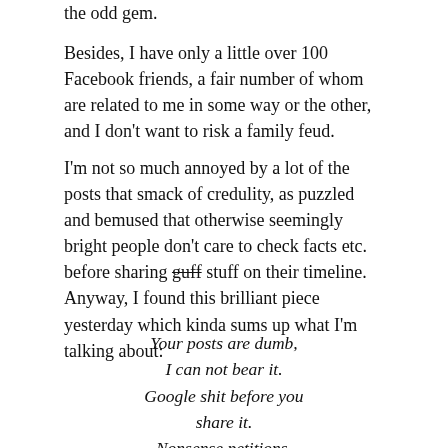the odd gem.
Besides, I have only a little over 100 Facebook friends, a fair number of whom are related to me in some way or the other, and I don't want to risk a family feud.
I'm not so much annoyed by a lot of the posts that smack of credulity, as puzzled and bemused that otherwise seemingly bright people don't care to check facts etc. before sharing guff stuff on their timeline. Anyway, I found this brilliant piece yesterday which kinda sums up what I'm talking about:
Your posts are dumb,
I can not bear it.
Google shit before you
share it.
Nonsense petitions,
celebrity deaths.
A search on snobes will save